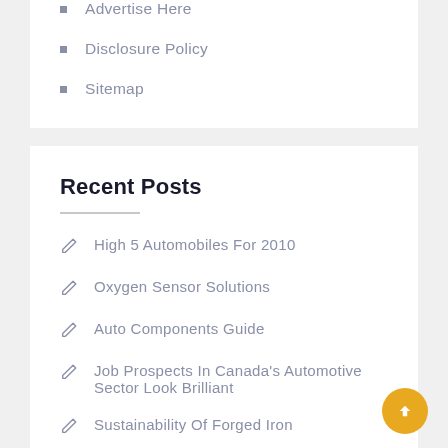Advertise Here
Disclosure Policy
Sitemap
Recent Posts
High 5 Automobiles For 2010
Oxygen Sensor Solutions
Auto Components Guide
Job Prospects In Canada's Automotive Sector Look Brilliant
Sustainability Of Forged Iron